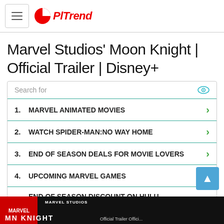PLTrend
Marvel Studios' Moon Knight | Official Trailer | Disney+
1. MARVEL ANIMATED MOVIES
2. WATCH SPIDER-MAN:NO WAY HOME
3. END OF SEASON DEALS FOR MOVIE LOVERS
4. UPCOMING MARVEL GAMES
5. END OF SEASON DISCOUNT ON HULU SUBSCRIPTION
Yahoo! Search | Sponsored
[Figure (screenshot): Video thumbnail showing Moon Knight Marvel Studios official trailer]